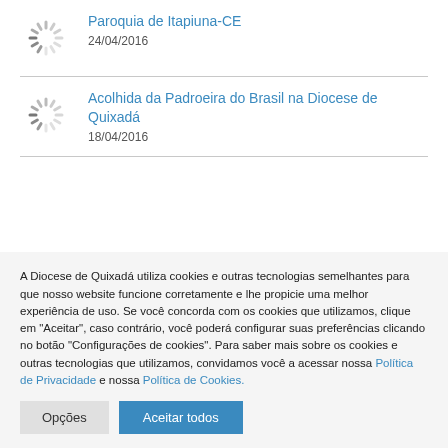Paroquia de Itapiuna-CE
24/04/2016
Acolhida da Padroeira do Brasil na Diocese de Quixadá
18/04/2016
A Diocese de Quixadá utiliza cookies e outras tecnologias semelhantes para que nosso website funcione corretamente e lhe propicie uma melhor experiência de uso. Se você concorda com os cookies que utilizamos, clique em "Aceitar", caso contrário, você poderá configurar suas preferências clicando no botão "Configurações de cookies". Para saber mais sobre os cookies e outras tecnologias que utilizamos, convidamos você a acessar nossa Política de Privacidade e nossa Política de Cookies.